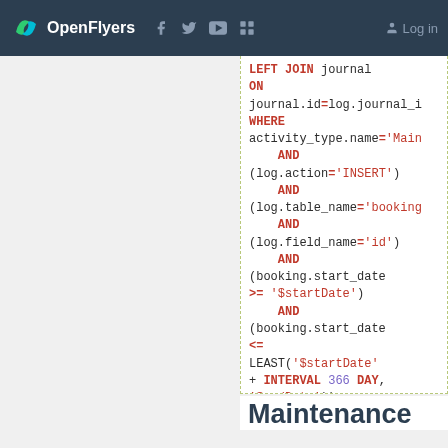OpenFlyers | Log in
LEFT JOIN journal ON journal.id=log.journal_i WHERE activity_type.name='Main AND (log.action='INSERT') AND (log.table_name='booking AND (log.field_name='id') AND (booking.start_date >= '$startDate') AND (booking.start_date <= LEAST('$startDate' + INTERVAL 366 DAY, '$endDate')) GROUP BY resource.id ORDER BY 1
Maintenance